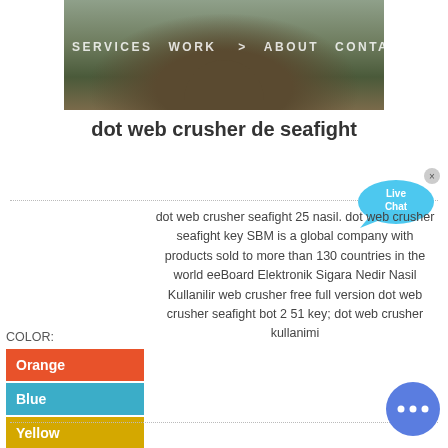[Figure (photo): Aerial/outdoor photo of a mining crusher operation with machinery and rocky terrain, overlaid with navigation bar reading SERVICES WORK ABOUT CONTACT]
dot web crusher de seafight
[Figure (illustration): Live Chat speech bubble icon in blue/cyan color with X close button]
dot web crusher seafight 25 nasil. dot web crusher seafight key SBM is a global company with products sold to more than 130 countries in the world eeBoard Elektronik Sigara Nedir Nasil Kullanilir web crusher free full version dot web crusher seafight bot 2 51 key; dot web crusher kullanimi
| COLOR: |
| --- |
| Orange |
| Blue |
| Yellow |
[Figure (illustration): Blue circle chat widget with three dots (ellipsis) indicating a chat messenger button]